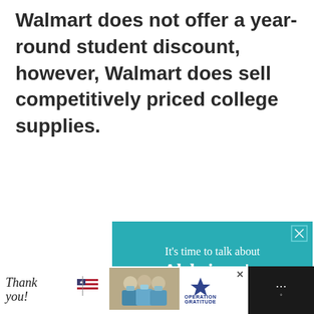Walmart does not offer a year-round student discount, however, Walmart does sell competitively priced college supplies.
[Figure (illustration): Alzheimer's Association advertisement on teal background. Text reads: 'It's time to talk about Alzheimer's.' with a LEARN MORE button and alz.org/ourstories URL. Illustration shows two elderly figures. Ad badge and Alzheimer's Association logo at bottom.]
[Figure (illustration): Operation Gratitude bottom banner ad on dark background. Shows 'Thank you!' in script font with American flag graphic, a photo of people in masks holding packages, Operation Gratitude logo, and a close button.]